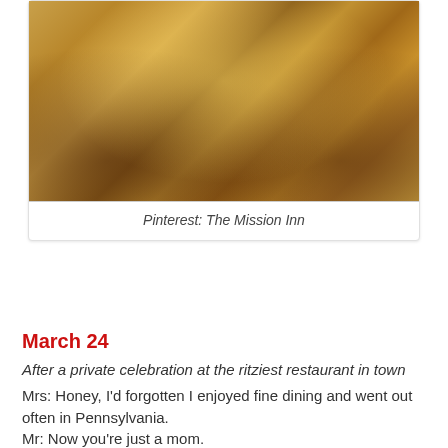[Figure (photo): Interior of an elegant restaurant dining room with ornate carpeting, upholstered chairs, white tablecloths, tropical plants, and warm golden lighting. Long corridor view with a painting at the end.]
Pinterest: The Mission Inn
March 24
After a private celebration at the ritziest restaurant in town
Mrs: Honey, I'd forgotten I enjoyed fine dining and went out often in Pennsylvania.
Mr: Now you're just a mom.
Mrs: Greaat
March 26
Mrs: Not tonight, honey. I have a headache. And you know what? I'm sure I'll have one tomorrow, too. But you'll have gas again, so there.
(When we'd stopped laughing) Hey, I should blog that. Would